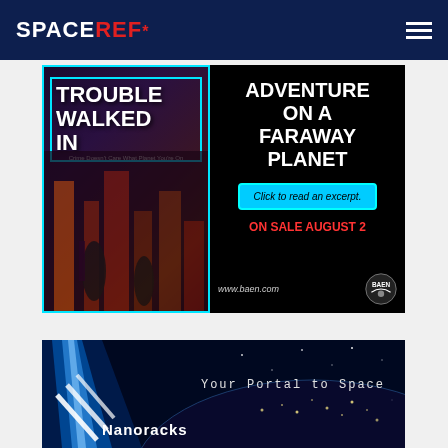SPACEREF*
[Figure (illustration): Book advertisement for 'Trouble Walked In' - a noir-style science fiction book. Left side shows book cover with cyberpunk city street scene. Right side on black background reads: ADVENTURE ON A FARAWAY PLANET, Click to read an excerpt., ON SALE AUGUST 2, www.baen.com with Baen Books logo.]
[Figure (illustration): Nanoracks advertisement banner with dark space background showing Earth at night with city lights. Blue light beam effect on left side. Text reads: Your Portal to Space, Nanoracks]